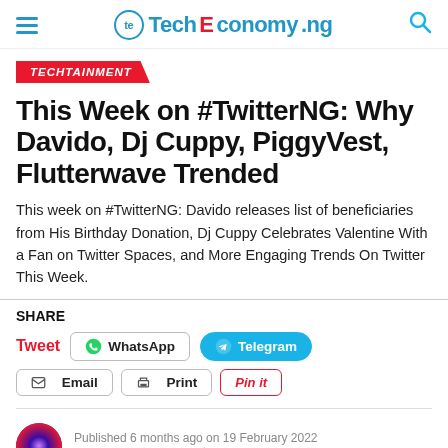TechEconomy.ng
TECHTAINMENT
This Week on #TwitterNG: Why Davido, Dj Cuppy, PiggyVest, Flutterwave Trended
This week on #TwitterNG: Davido releases list of beneficiaries from His Birthday Donation, Dj Cuppy Celebrates Valentine With a Fan on Twitter Spaces, and More Engaging Trends On Twitter This Week.
SHARE
Tweet  WhatsApp  Telegram  Email  Print  Pinit
Published 6 months ago on 19 February 2022
By Yinka Okeowo